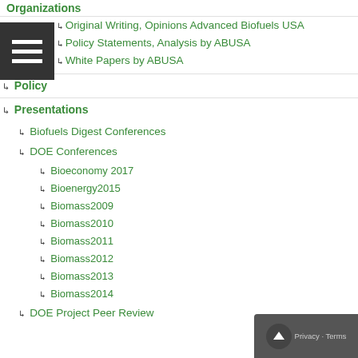Organizations
Original Writing, Opinions Advanced Biofuels USA
Policy Statements, Analysis by ABUSA
White Papers by ABUSA
Policy
Presentations
Biofuels Digest Conferences
DOE Conferences
Bioeconomy 2017
Bioenergy2015
Biomass2009
Biomass2010
Biomass2011
Biomass2012
Biomass2013
Biomass2014
DOE Project Peer Review
Other Conferences/Events
R & D Focus
Carbon Capture/Storage
Co-Products
Feedstock
Logistics